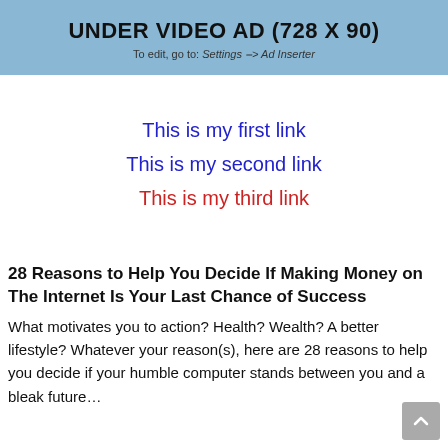[Figure (other): Ad banner placeholder: UNDER VIDEO AD (728 X 90) with subtitle 'To edit, go to: Settings --> Ad Inserter']
This is my first link
This is my second link
This is my third link
28 Reasons to Help You Decide If Making Money on The Internet Is Your Last Chance of Success
What motivates you to action? Health? Wealth? A better lifestyle? Whatever your reason(s), here are 28 reasons to help you decide if your humble computer stands between you and a bleak future…